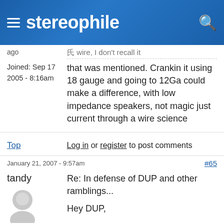stereophile
ago
that was mentioned. Crankin it using 18 gauge and going to 12Ga could make a difference, with low impedance speakers, not magic just current through a wire science
Joined: Sep 17 2005 - 8:16am
Top
Log in or register to post comments
January 21, 2007 - 9:57am
#65
tandy
Re: In defense of DUP and other ramblings...
Hey DUP,